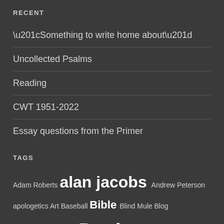RECENT
“Something to write home about”
Uncollected Psalms
Reading
CWT 1951-2022
Essay questions from the Primer
TAGS
Adam Roberts alan jacobs Andrew Peterson apologetics Art Baseball Bible Blind Mule Blog book review Books c.s. lewis China Chinese Clinton